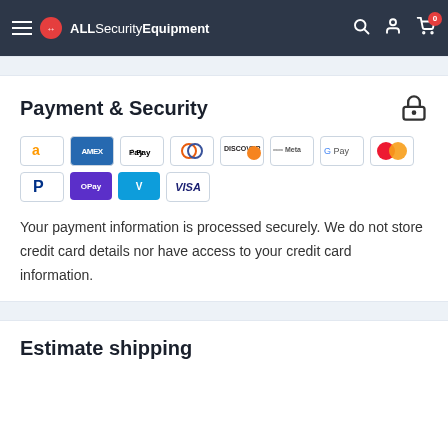ALLSecurityEquipment — navigation header with menu, logo, search, account, cart (0)
Payment & Security
[Figure (other): Payment method icons: Amazon, Amex, Apple Pay, Diners Club, Discover, Meta, Google Pay, Mastercard, PayPal, OPay, Venmo, Visa]
Your payment information is processed securely. We do not store credit card details nor have access to your credit card information.
Estimate shipping